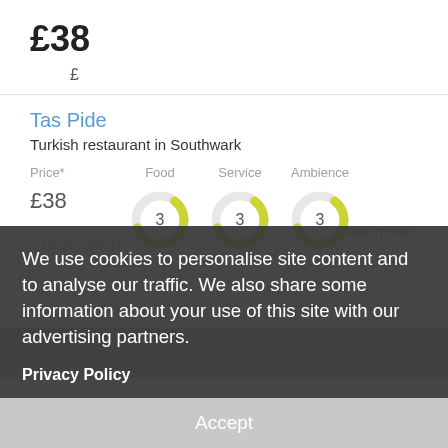£38
£
Tas Pide
Turkish restaurant in Southwark
[Figure (infographic): Ratings section showing Price*, Food, Service, Ambience columns with donut charts showing value 3 for Food, Service, Ambience, and £38 for Price]
We use cookies to personalise site content and to analyse our traffic. We also share some information about your use of this site with our advertising partners.
Privacy Policy
Accept